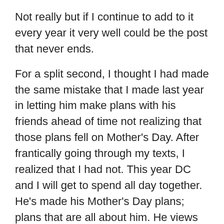Not really but if I continue to add to it every year it very well could be the post that never ends.
For a split second, I thought I had made the same mistake that I made last year in letting him make plans with his friends ahead of time not realizing that those plans fell on Mother's Day. After frantically going through my texts, I realized that I had not. This year DC and I will get to spend all day together. He's made his Mother's Day plans; plans that are all about him. He views every holiday as an opportunity to go ‘out to eat’ so that is what we will do. I am sure that a trip to the bookstore is on his agenda as well. He likes to roll things out a little bit at a time.
I suppose technically Mother’s Day is all about him, right?
Even though the plans tend to favor him, he always understood that it is a little bit about me too.